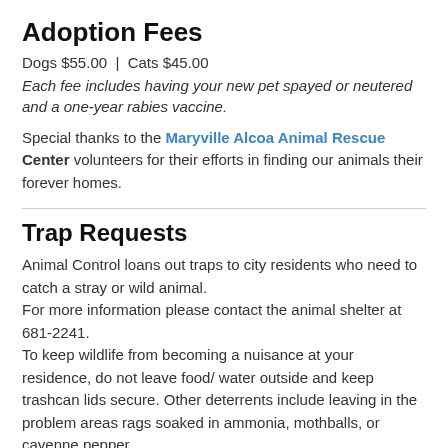Adoption Fees
Dogs $55.00  |  Cats $45.00
Each fee includes having your new pet spayed or neutered and a one-year rabies vaccine.
Special thanks to the Maryville Alcoa Animal Rescue Center volunteers for their efforts in finding our animals their forever homes.
Trap Requests
Animal Control loans out traps to city residents who need to catch a stray or wild animal.
For more information please contact the animal shelter at 681-2241.
To keep wildlife from becoming a nuisance at your residence, do not leave food/ water outside and keep trashcan lids secure. Other deterrents include leaving in the problem areas rags soaked in ammonia, mothballs, or cayenne pepper.
Raccoon Concerns